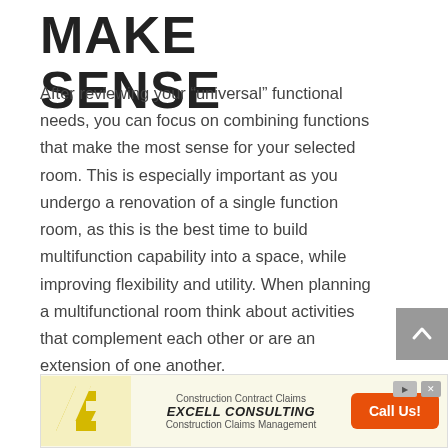MAKE SENSE
After reviewing your “universal” functional needs, you can focus on combining functions that make the most sense for your selected room. This is especially important as you undergo a renovation of a single function room, as this is the best time to build multifunction capability into a space, while improving flexibility and utility. When planning a multifunctional room think about activities that complement each other or are an extension of one another.
[Figure (other): Advertisement banner for Excell Consulting featuring yellow logo with LE initials, text reading Construction Contract Claims, EXCELL CONSULTING, Construction Claims Management, and an orange Call Us! button]